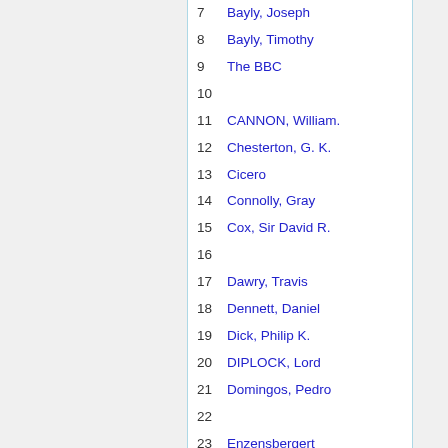7  Bayly, Joseph
8  Bayly, Timothy
9  The BBC
10
11  CANNON, William.
12  Chesterton, G. K.
13  Cicero
14  Connolly, Gray
15  Cox, Sir David R.
16
17  Dawry, Travis
18  Dennett, Daniel
19  Dick, Philip K.
20  DIPLOCK, Lord
21  Domingos, Pedro
22
23  Enzensbergert
24
25  Faulkner, William
26  Feynman, Richard